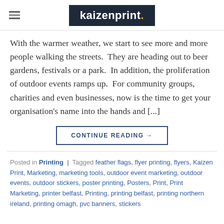kaizenprint.
With the warmer weather, we start to see more and more people walking the streets.  They are heading out to beer gardens, festivals or a park.  In addition, the proliferation of outdoor events ramps up.  For community groups, charities and even businesses, now is the time to get your organisation's name into the hands and [...]
CONTINUE READING →
Posted in Printing | Tagged feather flags, flyer printing, flyers, Kaizen Print, Marketing, marketing tools, outdoor event marketing, outdoor events, outdoor stickers, poster printing, Posters, Print, Print Marketing, printer belfast, Printing, printing belfast, printing northern ireland, printing omagh, pvc banners, stickers